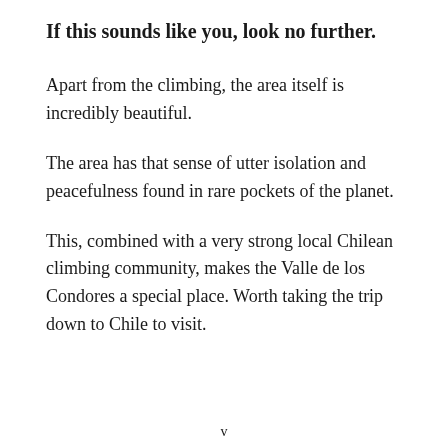If this sounds like you, look no further.
Apart from the climbing, the area itself is incredibly beautiful.
The area has that sense of utter isolation and peacefulness found in rare pockets of the planet.
This, combined with a very strong local Chilean climbing community, makes the Valle de los Condores a special place. Worth taking the trip down to Chile to visit.
v